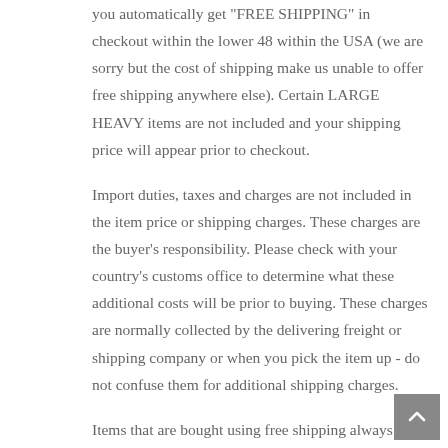you automatically get "FREE SHIPPING" in checkout within the lower 48 within the USA (we are sorry but the cost of shipping make us unable to offer free shipping anywhere else). Certain LARGE HEAVY items are not included and your shipping price will appear prior to checkout.
Import duties, taxes and charges are not included in the item price or shipping charges. These charges are the buyer’s responsibility. Please check with your country’s customs office to determine what these additional costs will be prior to buying. These charges are normally collected by the delivering freight or shipping company or when you pick the item up - do not confuse them for additional shipping charges.
Items that are bought using free shipping always ship GROUND and through the method